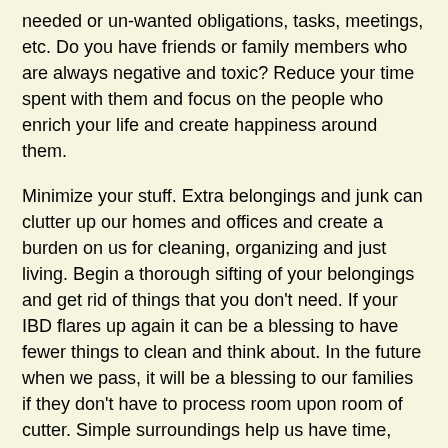needed or un-wanted obligations, tasks, meetings, etc. Do you have friends or family members who are always negative and toxic? Reduce your time spent with them and focus on the people who enrich your life and create happiness around them.
Minimize your stuff. Extra belongings and junk can clutter up our homes and offices and create a burden on us for cleaning, organizing and just living. Begin a thorough sifting of your belongings and get rid of things that you don't need. If your IBD flares up again it can be a blessing to have fewer things to clean and think about. In the future when we pass, it will be a blessing to our families if they don't have to process room upon room of cutter. Simple surroundings help us have time, energy and focus for what's important.
Get some exercise. While there may not be a link between IBD and lack of exercise, exercise does contribute to your overall health. Months or years of being inactive can take a drastic and hidden toll on your body. Now that you are physically feeling well, treat yourself to some movement! Run, dance, kick-box, take the stairs, hike, play a sport, wrestle the kids, walk the dog, anything at all is better than